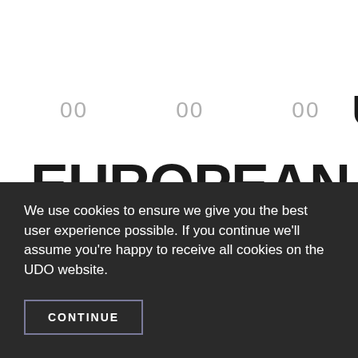00   00   00   UDO
EUROPEAN STREET DANCE CHAMPIONSHIPS
We use cookies to ensure we give you the best user experience possible. If you continue we'll assume you're happy to receive all cookies on the UDO website.
CONTINUE